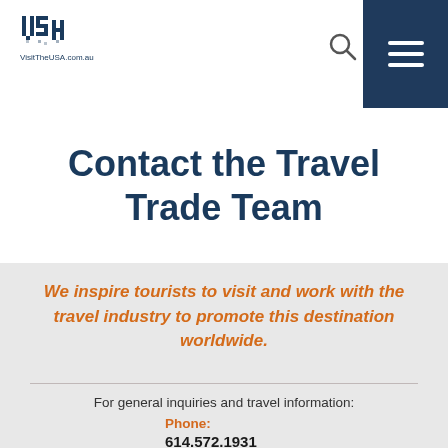[Figure (logo): VisitTheUSA.com.au logo with pixel-art style USA text and website URL below]
Contact the Travel Trade Team
We inspire tourists to visit and work with the travel industry to promote this destination worldwide.
For general inquiries and travel information:
Phone: 614.572.1931